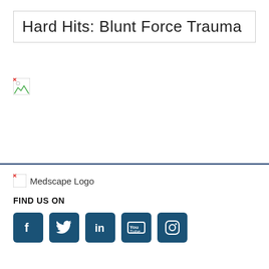Hard Hits: Blunt Force Trauma
[Figure (photo): Broken/missing image placeholder]
[Figure (logo): Medscape Logo placeholder]
FIND US ON
[Figure (other): Social media icons: Facebook, Twitter, LinkedIn, YouTube, Instagram]